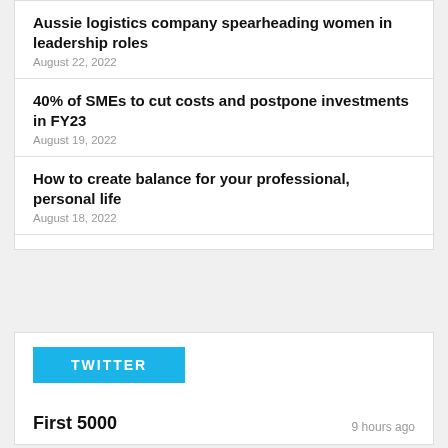Aussie logistics company spearheading women in leadership roles
August 22, 2022
40% of SMEs to cut costs and postpone investments in FY23
August 19, 2022
How to create balance for your professional, personal life
August 18, 2022
TWITTER
First 5000
9 hours ago